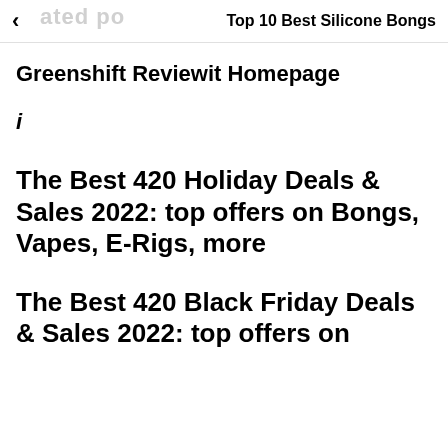Top 10 Best Silicone Bongs
Greenshift Reviewit Homepage
i
The Best 420 Holiday Deals & Sales 2022: top offers on Bongs, Vapes, E-Rigs, more
The Best 420 Black Friday Deals & Sales 2022: top offers on